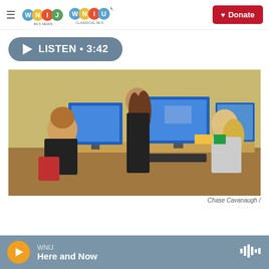WNIJ NEWS 89.5 | WNIU CLASSICAL 90.5 | Donate
[Figure (other): Listen audio player button showing LISTEN • 3:42]
[Figure (photo): Three people in an office/classroom setting with computers on desks. One person standing in the center with long hair, one seated on the left with curly hair, and one seated on the right with blonde hair talking on phone.]
Chase Cavanaugh /
WNIJ Here and Now